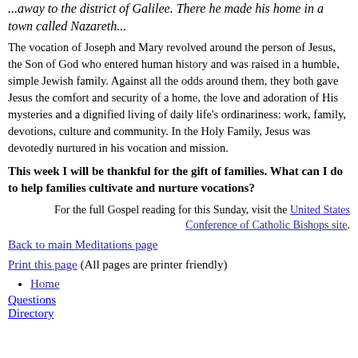...away to the district of Galilee. There he made his home in a town called Nazareth...
The vocation of Joseph and Mary revolved around the person of Jesus, the Son of God who entered human history and was raised in a humble, simple Jewish family. Against all the odds around them, they both gave Jesus the comfort and security of a home, the love and adoration of His mysteries and a dignified living of daily life's ordinariness: work, family, devotions, culture and community. In the Holy Family, Jesus was devotedly nurtured in his vocation and mission.
This week I will be thankful for the gift of families. What can I do to help families cultivate and nurture vocations?
For the full Gospel reading for this Sunday, visit the United States Conference of Catholic Bishops site.
Back to main Meditations page
Print this page (All pages are printer friendly)
Home
Questions
Directory